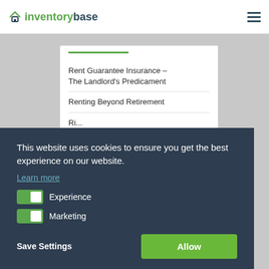[Figure (logo): InventoryBase logo with house icon and green/dark teal text]
Rent Guarantee Insurance – The Landlord's Predicament
Renting Beyond Retirement
This website uses cookies to ensure you get the best experience on our website.
Learn more
Experience
Marketing
Save Settings
Allow